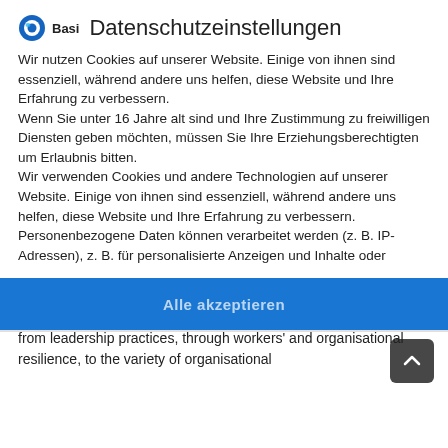Basi Datenschutzeinstellungen
Wir nutzen Cookies auf unserer Website. Einige von ihnen sind essenziell, während andere uns helfen, diese Website und Ihre Erfahrung zu verbessern.
Wenn Sie unter 16 Jahre alt sind und Ihre Zustimmung zu freiwilligen Diensten geben möchten, müssen Sie Ihre Erziehungsberechtigten um Erlaubnis bitten.
Wir verwenden Cookies und andere Technologien auf unserer Website. Einige von ihnen sind essenziell, während andere uns helfen, diese Website und Ihre Erfahrung zu verbessern. Personenbezogene Daten können verarbeitet werden (z. B. IP-Adressen), z. B. für personalisierte Anzeigen und Inhalte oder
Essenziell
Statistiken
Externe Medien
how working in the hectic world affects the working conditions and wellbeing of different groups of workers, and what methods and tools – from leadership practices, through workers' and organisational resilience, to the variety of organisational